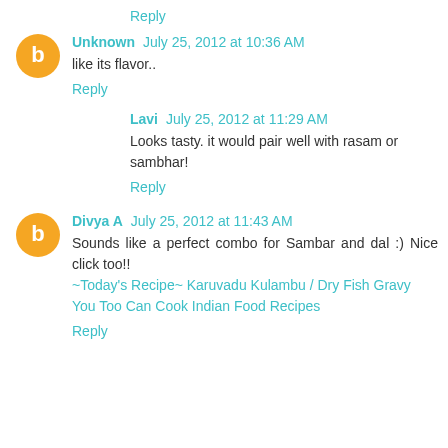Reply
Unknown  July 25, 2012 at 10:36 AM
like its flavor..
Reply
Lavi  July 25, 2012 at 11:29 AM
Looks tasty. it would pair well with rasam or sambhar!
Reply
Divya A  July 25, 2012 at 11:43 AM
Sounds like a perfect combo for Sambar and dal :) Nice click too!!
~Today's Recipe~ Karuvadu Kulambu / Dry Fish Gravy
You Too Can Cook Indian Food Recipes
Reply